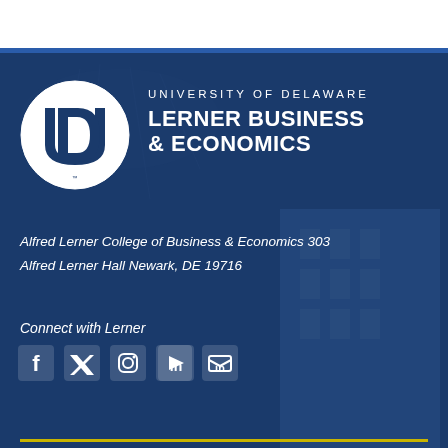[Figure (logo): University of Delaware UD circular logo in white circle on dark blue background]
UNIVERSITY OF DELAWARE LERNER BUSINESS & ECONOMICS
Alfred Lerner College of Business & Economics 303
Alfred Lerner Hall Newark, DE 19716
Connect with Lerner
[Figure (illustration): Social media icons: Facebook, Twitter/X, Instagram, YouTube, LinkedIn]